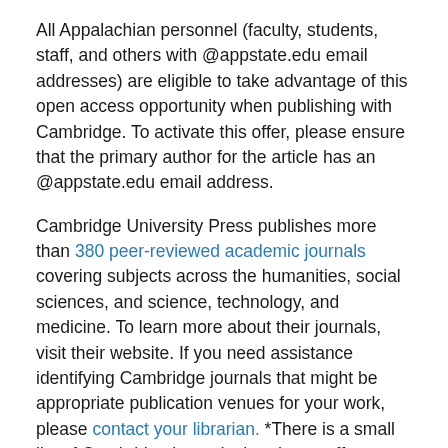All Appalachian personnel (faculty, students, staff, and others with @appstate.edu email addresses) are eligible to take advantage of this open access opportunity when publishing with Cambridge. To activate this offer, please ensure that the primary author for the article has an @appstate.edu email address.
Cambridge University Press publishes more than 380 peer-reviewed academic journals covering subjects across the humanities, social sciences, and science, technology, and medicine. To learn more about their journals, visit their website. If you need assistance identifying Cambridge journals that might be appropriate publication venues for your work, please contact your librarian. *There is a small list of Cambridge journals that do not offer open access publishing options and are excluded from this agreement. If you have questions, contact Agnes Gambill (gambillab@appstate.edu).
Open Access Publishing with Wiley
...